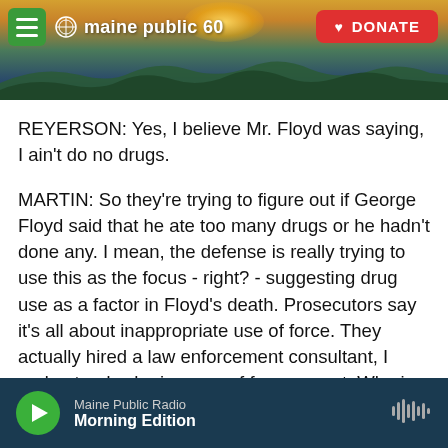[Figure (screenshot): Maine Public Radio website header banner showing a landscape sunrise photo with green menu button, Maine Public 60 logo, and red DONATE button]
REYERSON: Yes, I believe Mr. Floyd was saying, I ain't do no drugs.
MARTIN: So they're trying to figure out if George Floyd said that he ate too many drugs or he hadn't done any. I mean, the defense is really trying to use this as the focus - right? - suggesting drug use as a factor in Floyd's death. Prosecutors say it's all about inappropriate use of force. They actually hired a law enforcement consultant, I understand, who is a use of force expert. Who is he, and what did he have to say in the trial?
Maine Public Radio - Morning Edition